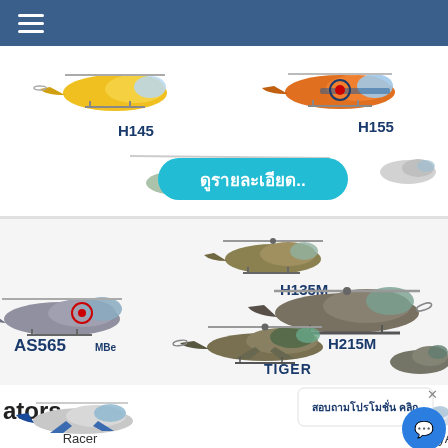[Figure (screenshot): Mobile app screenshot showing Airbus helicopter product catalog in Thai language. Top navy navigation bar with hamburger menu. Section showing civilian helicopters H145 (yellow) and H155 (orange/blue) with a teal 'ดูรายละเอียด..' button. Military helicopter section showing H135M, AS565 MBe, H215M, TIGER. Bottom section labeled 'ators' with Racer and CityAirbus concept aircraft. Chat popup with Thai text 'สอบถามโปรโมชั่น คลิก' and blue chat button.]